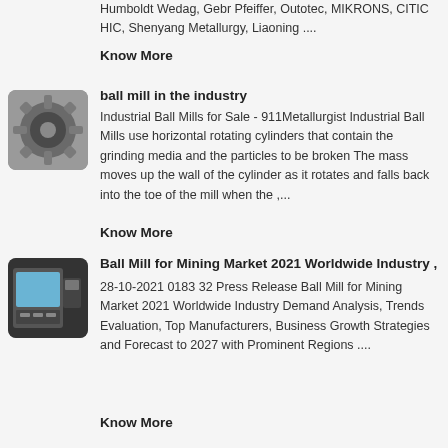Humboldt Wedag, Gebr Pfeiffer, Outotec, MIKRONS, CITIC HIC, Shenyang Metallurgy, Liaoning ....
Know More
[Figure (photo): Small circular gear/chain component on rounded square background]
ball mill in the industry
Industrial Ball Mills for Sale - 911Metallurgist Industrial Ball Mills use horizontal rotating cylinders that contain the grinding media and the particles to be broken The mass moves up the wall of the cylinder as it rotates and falls back into the toe of the mill when the ,...
Know More
[Figure (photo): Industrial machine with screen/control panel on dark background]
Ball Mill for Mining Market 2021 Worldwide Industry ,
28-10-2021 0183 32 Press Release Ball Mill for Mining Market 2021 Worldwide Industry Demand Analysis, Trends Evaluation, Top Manufacturers, Business Growth Strategies and Forecast to 2027 with Prominent Regions ....
Know More